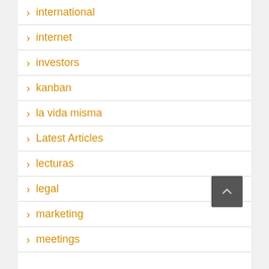international
internet
investors
kanban
la vida misma
Latest Articles
lecturas
legal
marketing
meetings